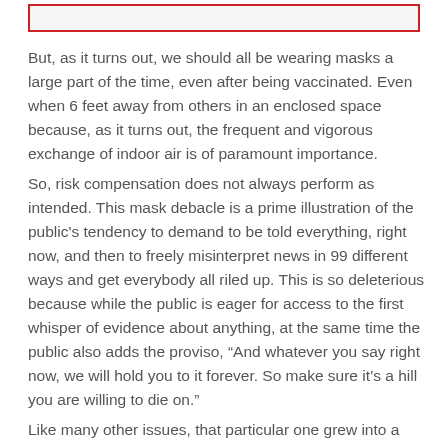[Figure (other): Red-bordered rectangle at top of page (decorative or cropped image placeholder)]
But, as it turns out, we should all be wearing masks a large part of the time, even after being vaccinated. Even when 6 feet away from others in an enclosed space because, as it turns out, the frequent and vigorous exchange of indoor air is of paramount importance.
So, risk compensation does not always perform as intended. This mask debacle is a prime illustration of the public's tendency to demand to be told everything, right now, and then to freely misinterpret news in 99 different ways and get everybody all riled up. This is so deleterious because while the public is eager for access to the first whisper of evidence about anything, at the same time the public also adds the proviso, “And whatever you say right now, we will hold you to it forever. So make sure it’s a hill you are willing to die on.”
Like many other issues, that particular one grew into a